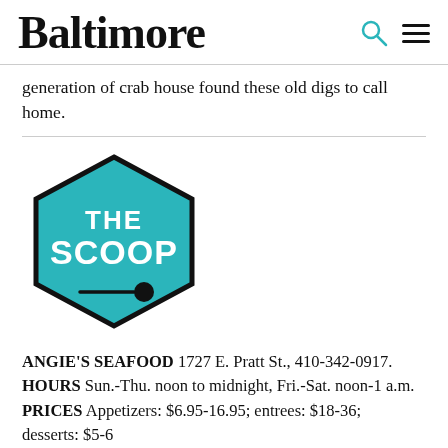Baltimore
generation of crab house found these old digs to call home.
[Figure (logo): The Scoop logo — a teal hexagon with black border, white bold text reading THE SCOOP, with a spoon icon below the text]
ANGIE'S SEAFOOD 1727 E. Pratt St., 410-342-0917. HOURS Sun.-Thu. noon to midnight, Fri.-Sat. noon-1 a.m. PRICES Appetizers: $6.95-16.95; entrees: $18-36; desserts: $5-6